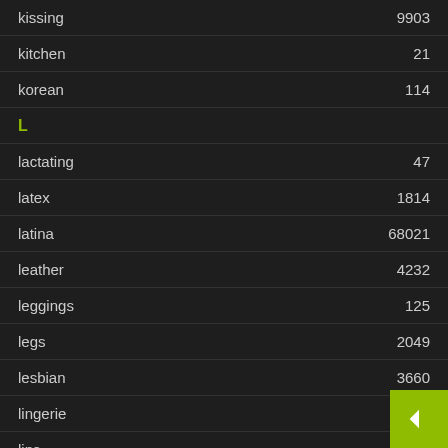kissing 9903
kitchen 21
korean 114
L
lactating 47
latex 1814
latina 68021
leather 4232
leggings 125
legs 2049
lesbian 3660
lingerie 2603
lips 1081
live 76
M
machine